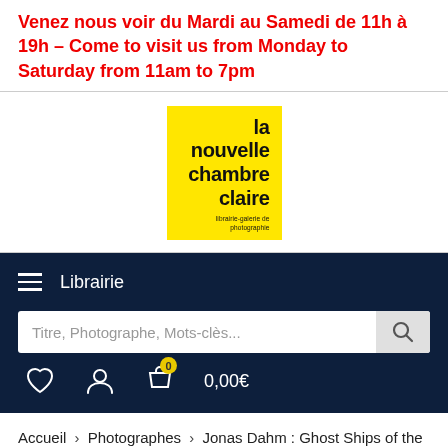Venez nous voir du Mardi au Samedi de 11h à 19h – Come to visit us from Monday to Saturday from 11am to 7pm
[Figure (logo): La Nouvelle Chambre Claire logo — yellow rectangle with bold black text reading 'la nouvelle chambre claire' and small subtitle 'librairie-galerie de photographie']
Librairie
Titre, Photographe, Mots-clès...
0,00€
Accueil › Photographes › Jonas Dahm : Ghost Ships of the Baltic S...